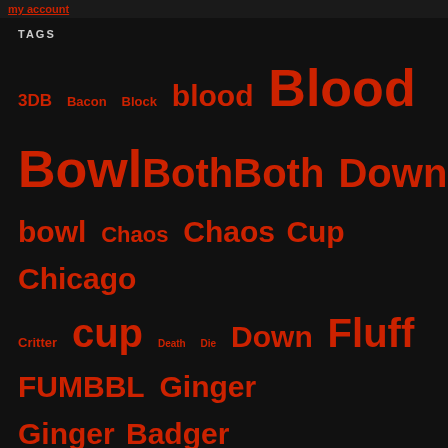my account
TAGS
3DB Bacon Block blood Blood Bowl Both Both Down bowl Chaos Chaos Cup Chicago Critter cup Death Die Down Fluff FUMBBL Ginger Ginger Badger gingers Giordanos Khorne Kilowoggy NAF Nuffleween Oberweis Oklahoma Old Dirty Ginger Orclahoma Orclahoma Bowl Pizza Podcast Prime ROT CUP Scott Prime Snobb Spiky Spiky Cup Team